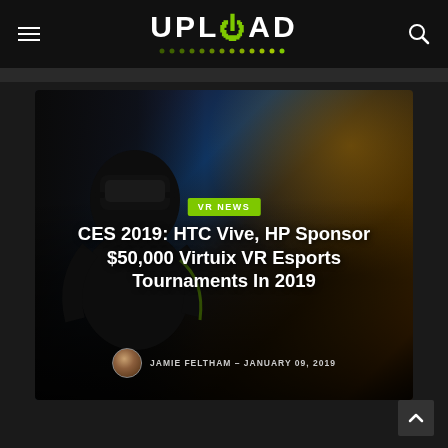UPLOAD VR NEWS - Navigation header with logo, hamburger menu, and search icon
[Figure (photo): Person wearing VR headset (HTC Vive) in a dark environment with warm orange/yellow bokeh background lights, holding controllers]
VR NEWS
CES 2019: HTC Vive, HP Sponsor $50,000 Virtuix VR Esports Tournaments In 2019
JAMIE FELTHAM - JANUARY 09, 2019